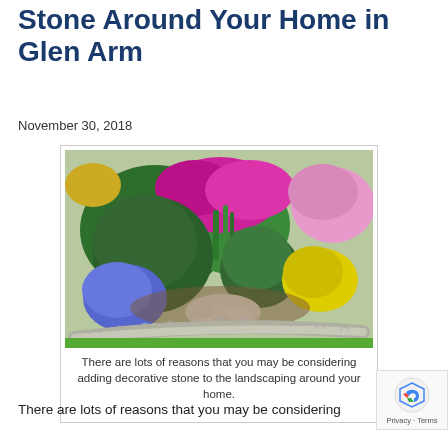Stone Around Your Home in Glen Arm
November 30, 2018
[Figure (photo): Garden bed with colorful flowering plants including purple, yellow, pink and white flowers, green shrubs, white decorative stones, and a curved stone edging border with green lawn in foreground.]
There are lots of reasons that you may be considering adding decorative stone to the landscaping around your home.
There are lots of reasons that you may be considering adding decorative stone to the landscaping around your home.